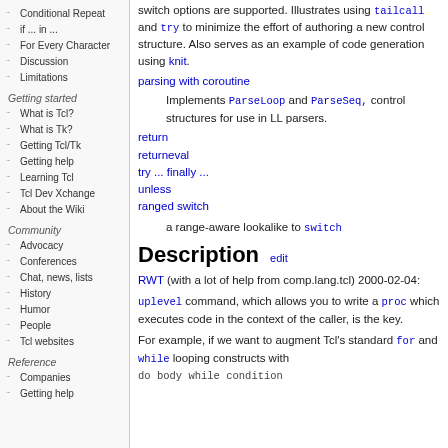Conditional Repeat
if ... in ...
For Every Character
Discussion
Limitations
Getting started
What is Tcl?
What is Tk?
Getting Tcl/Tk
Getting help
Learning Tcl
Tcl Dev Xchange
About the Wiki
Community
Advocacy
Conferences
Chat, news, lists
History
Humor
People
Tcl websites
Reference
Companies
Getting help
switch options are supported. Illustrates using tailcall and try to minimize the effort of authoring a new control structure. Also serves as an example of code generation using knit.
parsing with coroutine
Implements ParseLoop and ParseSeq, control structures for use in LL parsers.
return
returneval
try ... finally ...
unless
ranged switch
a range-aware lookalike to switch
Description edit
RWT (with a lot of help from comp.lang.tcl) 2000-02-04:
uplevel command, which allows you to write a proc which executes code in the context of the caller, is the key.
For example, if we want to augment Tcl's standard for and while looping constructs with
do body while condition